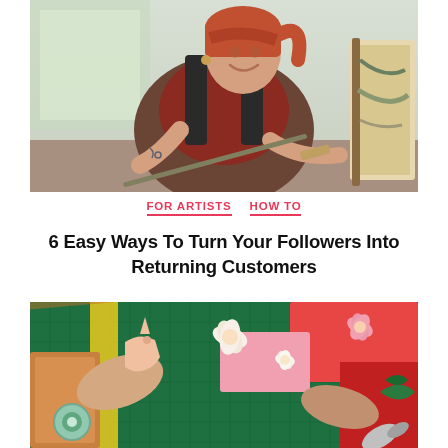[Figure (photo): A smiling female artist with red hair, wearing paint-splattered overalls over a dark red shirt, holding a paintbrush while working on a painting. Studio setting with natural light.]
FOR ARTISTS   HOW TO
6 Easy Ways To Turn Your Followers Into Returning Customers
[Figure (photo): Overhead view of hands working on paper craft art with floral cutouts on a green cutting mat, surrounded by colorful paper, scissors, tape and craft supplies.]